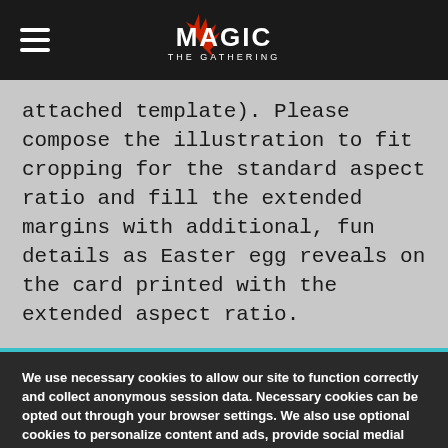Magic: The Gathering header with logo and hamburger menu
attached template). Please compose the illustration to fit cropping for the standard aspect ratio and fill the extended margins with additional, fun details as Easter egg reveals on the card printed with the extended aspect ratio.
We use necessary cookies to allow our site to function correctly and collect anonymous session data. Necessary cookies can be opted out through your browser settings. We also use optional cookies to personalize content and ads, provide social medial features and analyze web traffic. By clicking “OK, I agree,” you consent to optional cookies. (Learn more about cookies.)
OK, I agree   No, thanks